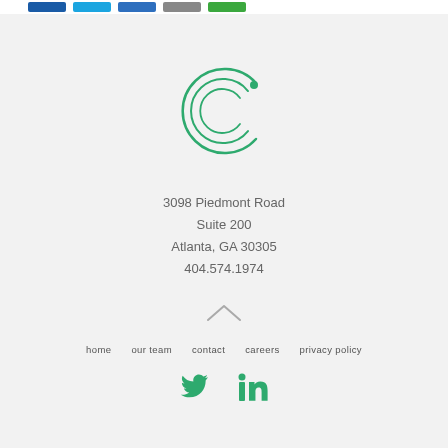[Figure (other): Top bar with colored social share buttons: dark blue, light blue, medium blue, gray, green]
[Figure (logo): Green circular logo resembling the letter C with concentric arc lines and a dot, representing a company logo]
3098 Piedmont Road
Suite 200
Atlanta, GA 30305
404.574.1974
[Figure (other): Up arrow / chevron icon in gray]
home   our team   contact   careers   privacy policy
[Figure (other): Twitter and LinkedIn icons in green]